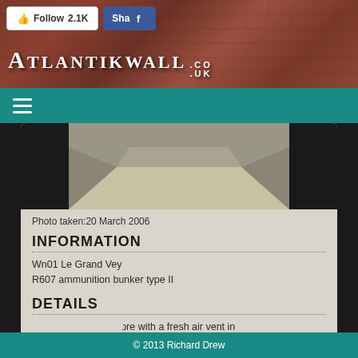[Figure (screenshot): Website header with brick wall background showing ATLANTIKWALL.CO.UK logo and social media buttons (Follow 2.1K and Share on Facebook)]
[Figure (photo): Interior photo of a bunker room with concrete walls and floor, with dark side borders]
Photo taken:20 March 2006
INFORMATION
Wn01 Le Grand Vey
R607 ammunition bunker type II
DETAILS
R607 ammunition store with a fresh air vent in the far wall.
© 2013 Richard Drew